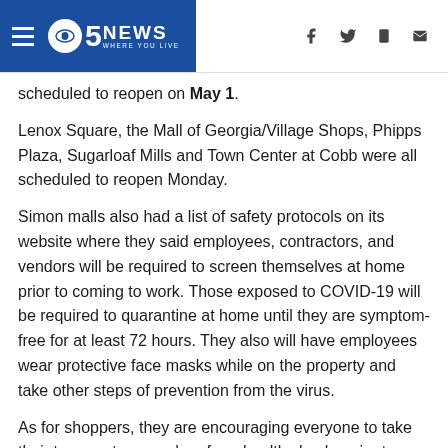5 News Where You Live
scheduled to reopen on May 1.
Lenox Square, the Mall of Georgia/Village Shops, Phipps Plaza, Sugarloaf Mills and Town Center at Cobb were all scheduled to reopen Monday.
Simon malls also had a list of safety protocols on its website where they said employees, contractors, and vendors will be required to screen themselves at home prior to coming to work. Those exposed to COVID-19 will be required to quarantine at home until they are symptom-free for at least 72 hours. They also will have employees wear protective face masks while on the property and take other steps of prevention from the virus.
As for shoppers, they are encouraging everyone to take their temperatures and perform health checks prior to coming to the mall and refrain from visiting if they have any flu-like symptoms.